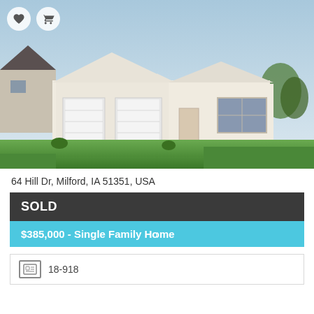[Figure (photo): Exterior photo of a single-family home at 64 Hill Dr, Milford, IA. Ranch-style house with cream/beige siding, three-car garage, green lawn, blue sky background.]
64 Hill Dr, Milford, IA 51351, USA
SOLD
$385,000 - Single Family Home
18-918